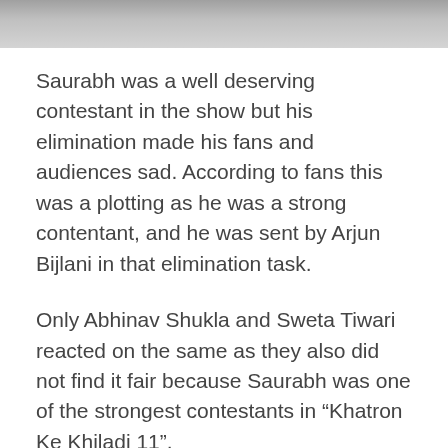[Figure (photo): Partial photo strip at top of page showing people's feet/legs at the bottom edge]
Saurabh was a well deserving contestant in the show but his elimination made his fans and audiences sad. According to fans this was a plotting as he was a strong contentant, and he was sent by Arjun Bijlani in that elimination task.
Only Abhinav Shukla and Sweta Tiwari reacted on the same as they also did not find it fair because Saurabh was one of the strongest contestants in “Khatron Ke Khiladi 11”.
Here are the glimpse of the audience’s reaction…